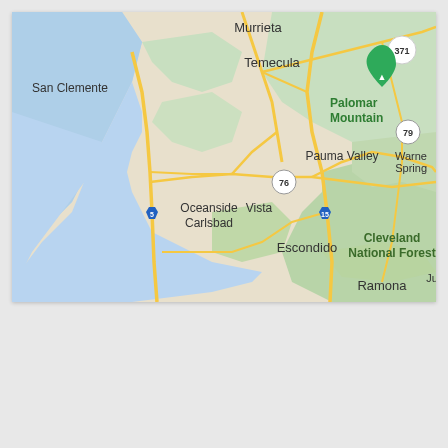[Figure (map): Google Maps view of coastal Southern California showing San Clemente on the left coast, Murrieta and Temecula in the north, Palomar Mountain with green mountain marker in the upper right area, Pauma Valley, Warner Springs, Oceanside, Vista, Carlsbad, Escondido, Cleveland National Forest (green area), Ramona, and highway markers for I-5, I-15, Route 76, Route 79, and Route 371.]